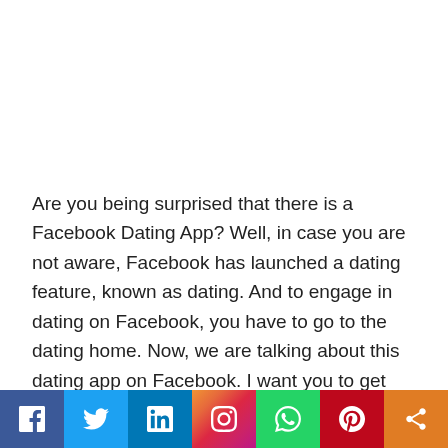Are you being surprised that there is a Facebook Dating App? Well, in case you are not aware, Facebook has launched a dating feature, known as dating. And to engage in dating on Facebook, you have to go to the dating home. Now, we are talking about this dating app on Facebook. I want you to get this straight. There is really no separate download for any dating app. Facebook is the dating app itself. I hope you understand
[Figure (other): Social sharing bar with icons for Facebook, Twitter, LinkedIn, Instagram, WhatsApp, Pinterest, and a share button]